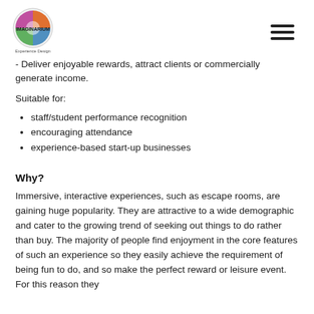IMAGINARIUM — Experience Design (logo and hamburger menu)
- Deliver enjoyable rewards, attract clients or commercially generate income.
Suitable for:
staff/student performance recognition
encouraging attendance
experience-based start-up businesses
Why?
Immersive, interactive experiences, such as escape rooms, are gaining huge popularity. They are attractive to a wide demographic and cater to the growing trend of seeking out things to do rather than buy. The majority of people find enjoyment in the core features of such an experience so they easily achieve the requirement of being fun to do, and so make the perfect reward or leisure event. For this reason they